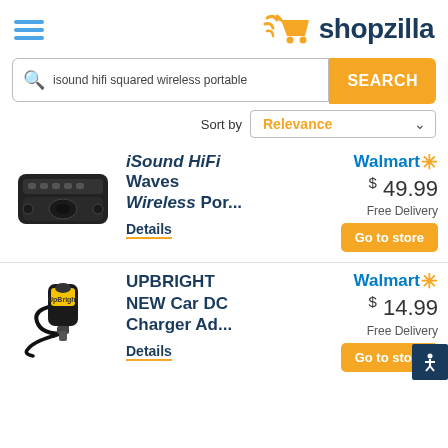[Figure (logo): Shopzilla logo with shopping cart icon and orange flame, dark blue text]
isound hifi squared wireless portable
SEARCH
Sort by Relevance
[Figure (photo): Black portable wireless speaker (iSound HiFi Waves)]
iSound HiFi Waves Wireless Por...
Details
Walmart $49.99 Free Delivery Go to store
[Figure (photo): UPBRIGHT car DC charger adapter with yellow label]
UPBRIGHT NEW Car DC Charger Ad...
Details
Walmart $14.99 Free Delivery Go to store